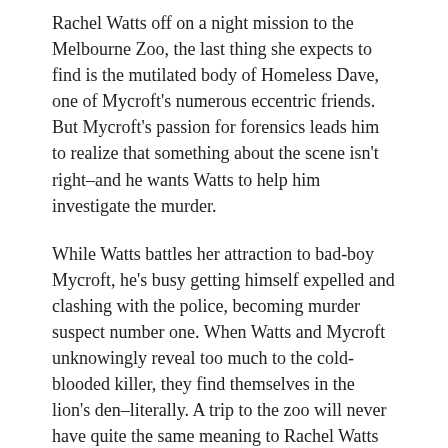Rachel Watts off on a night mission to the Melbourne Zoo, the last thing she expects to find is the mutilated body of Homeless Dave, one of Mycroft's numerous eccentric friends. But Mycroft's passion for forensics leads him to realize that something about the scene isn't right–and he wants Watts to help him investigate the murder.
While Watts battles her attraction to bad-boy Mycroft, he's busy getting himself expelled and clashing with the police, becoming murder suspect number one. When Watts and Mycroft unknowingly reveal too much to the cold-blooded killer, they find themselves in the lion's den–literally. A trip to the zoo will never have quite the same meaning to Rachel Watts again...
I picked this book up shortly after finishing the last episode of Sherlock, in an effort to tide me over until the